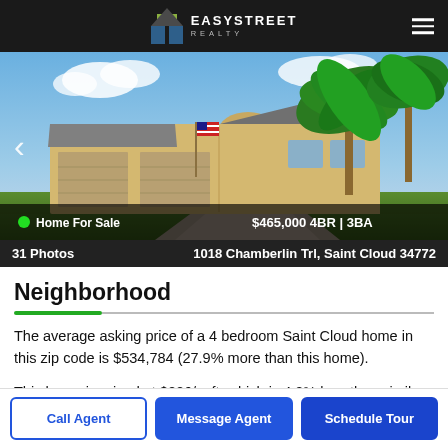EasyStreet Realty
[Figure (photo): Exterior photo of a single-story Florida home with stucco finish, two-car garage, arched entryway, American flag, and large palm trees. Sky visible in background.]
Home For Sale  $465,000  4BR | 3BA
31 Photos  1018 Chamberlin Trl, Saint Cloud 34772
Neighborhood
The average asking price of a 4 bedroom Saint Cloud home in this zip code is $534,784 (27.9% more than this home).
This home is priced at $226/sqft, which is 4.2% less than similar homes in the 34772 zip code.